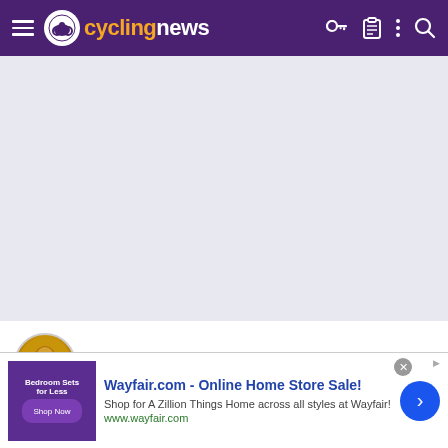cyclingnews
[Figure (screenshot): Grey placeholder content area below navigation bar]
jens_attacks
Sep 8, 2009   15,305   1   22,485
[Figure (illustration): Row of badge/achievement icons]
[Figure (infographic): Wayfair.com advertisement banner - Online Home Store Sale! Shop for A Zillion Things Home across all styles at Wayfair! www.wayfair.com]